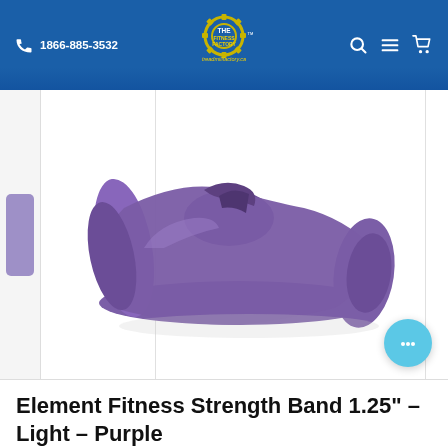1866-885-3532 | The Fitness Factory | treadmillfactory.ca
[Figure (photo): Purple resistance/strength band looped and folded, sitting on a white background. Product is a purple latex resistance loop band.]
Element Fitness Strength Band 1.25" – Light – Purple